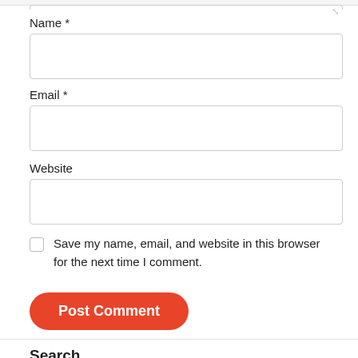Name *
[Figure (screenshot): Input field for Name]
Email *
[Figure (screenshot): Input field for Email]
Website
[Figure (screenshot): Input field for Website]
Save my name, email, and website in this browser for the next time I comment.
Post Comment
Search